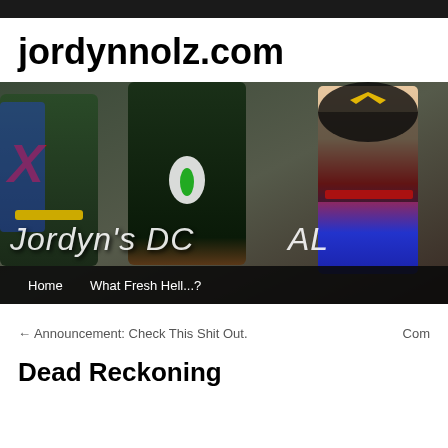jordynnolz.com
[Figure (photo): Hero banner image for 'Jordyn's DC' blog showing superhero action figures (Green Lantern, Wonder Woman, and others) with overlaid stylized text reading "Jordyn's DC" and a navigation bar below with 'Home' and 'What Fresh Hell...?' links]
← Announcement: Check This Shit Out.    Com
Dead Reckoning